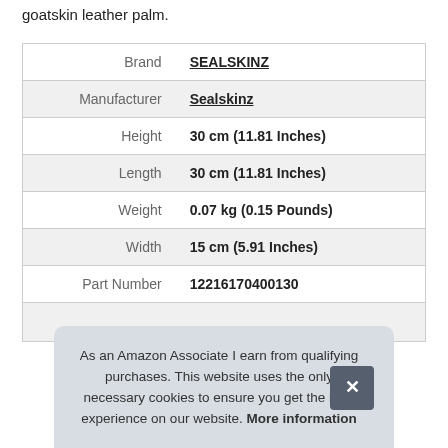goatskin leather palm.
| Label | Value |
| --- | --- |
| Brand | SEALSKINZ |
| Manufacturer | Sealskinz |
| Height | 30 cm (11.81 Inches) |
| Length | 30 cm (11.81 Inches) |
| Weight | 0.07 kg (0.15 Pounds) |
| Width | 15 cm (5.91 Inches) |
| Part Number | 12216170400130 |
As an Amazon Associate I earn from qualifying purchases. This website uses the only necessary cookies to ensure you get the best experience on our website. More information